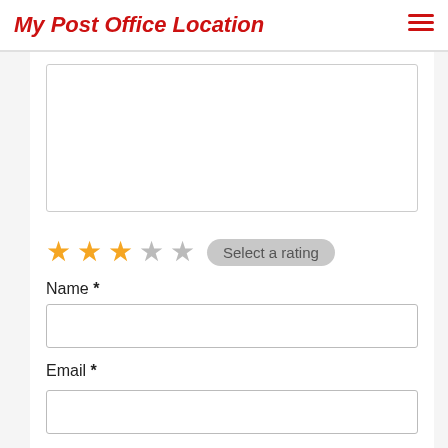My Post Office Location
[Figure (screenshot): A textarea form field (empty, resizable) for user input]
[Figure (infographic): Star rating widget showing 3 filled orange stars and 2 empty gray stars, with a 'Select a rating' badge]
Name *
[Figure (screenshot): Text input field for Name]
Email *
[Figure (screenshot): Text input field for Email]